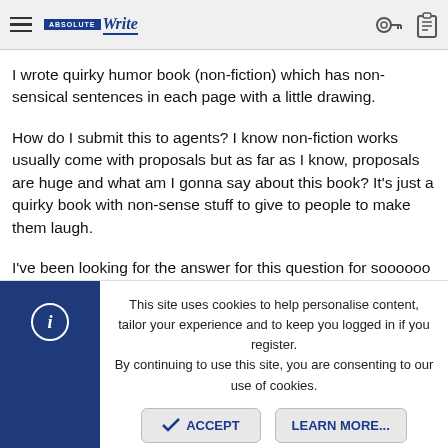AbsoluteWrite [logo] | key icon | clipboard icon
I wrote quirky humor book (non-fiction) which has non-sensical sentences in each page with a little drawing.
How do I submit this to agents? I know non-fiction works usually come with proposals but as far as I know, proposals are huge and what am I gonna say about this book? It's just a quirky book with non-sense stuff to give to people to make them laugh.
I've been looking for the answer for this question for soooooo long!
Someone, please help me!
Sincerely
This site uses cookies to help personalise content, tailor your experience and to keep you logged in if you register.
By continuing to use this site, you are consenting to our use of cookies.